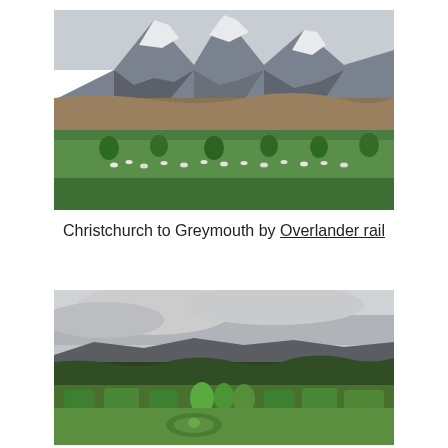[Figure (photo): Landscape photo showing snow-capped mountains with brown rocky slopes in the background, green meadow in the foreground with sheep grazing and scattered trees.]
Christchurch to Greymouth by Overlander rail
[Figure (photo): Landscape photo showing a formal garden with sculpted hedges and topiary in the foreground, dense tree line in the middle ground, and cloudy overcast skies with dark hills behind.]